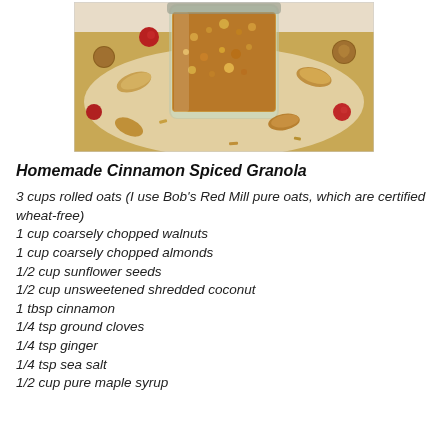[Figure (photo): A glass jar filled with homemade granola surrounded by scattered almonds, walnuts, and dried cranberries/raspberries on a white surface.]
Homemade Cinnamon Spiced Granola
3 cups rolled oats (I use Bob's Red Mill pure oats, which are certified wheat-free)
1 cup coarsely chopped walnuts
1 cup coarsely chopped almonds
1/2 cup sunflower seeds
1/2 cup unsweetened shredded coconut
1 tbsp cinnamon
1/4 tsp ground cloves
1/4 tsp ginger
1/4 tsp sea salt
1/2 cup pure maple syrup